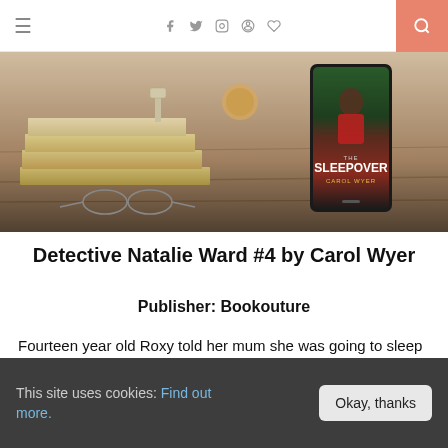≡  f  w  ⊙  ⊕  ♥  🔍
[Figure (photo): Hero image showing a stack of books with reading glasses on a wooden surface, and a smartphone displaying the book cover of 'The Sleepover' by Carol Wyer]
Detective Natalie Ward #4 by Carol Wyer
Publisher: Bookouture
Fourteen year old Roxy told her mum she was going to sleep over at her best friend Ellie's house. Ellie practically lives next door, so what could go wrong, right?
This site uses cookies: Find out more.    Okay, thanks